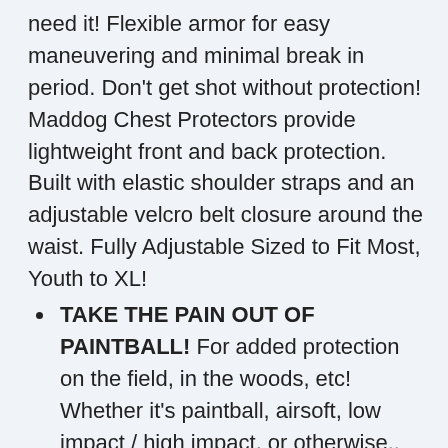need it! Flexible armor for easy maneuvering and minimal break in period. Don't get shot without protection! Maddog Chest Protectors provide lightweight front and back protection. Built with elastic shoulder straps and an adjustable velcro belt closure around the waist. Fully Adjustable Sized to Fit Most, Youth to XL!
TAKE THE PAIN OUT OF PAINTBALL! For added protection on the field, in the woods, etc! Whether it's paintball, airsoft, low impact / high impact, or otherwise.. Getting shot hurts! Don't wait until it's too late! Wear under coveralls or on top of your first layer.
DON'T BE AFRAID TO WIN! Play with confidence! Leave the welts and bruises to the other team. Maddog and help protect...